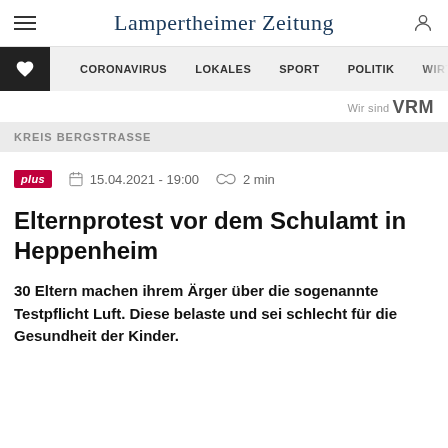Lampertheimer Zeitung
CORONAVIRUS  LOKALES  SPORT  POLITIK  WIRTSCH
Wir sind VRM
KREIS BERGSTRASSE
plus  15.04.2021 - 19:00  2 min
Elternprotest vor dem Schulamt in Heppenheim
30 Eltern machen ihrem Ärger über die sogenannte Testpflicht Luft. Diese belaste und sei schlecht für die Gesundheit der Kinder.